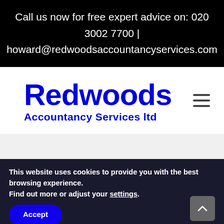Call us now for free expert advice on: 020 3002 7700 | howard@redwoodsaccountancyservices.com
[Figure (logo): Redwoods Accountancy Services Ltd logo in blue text with hamburger menu icon]
This website uses cookies to provide you with the best browsing experience. Find out more or adjust your settings.